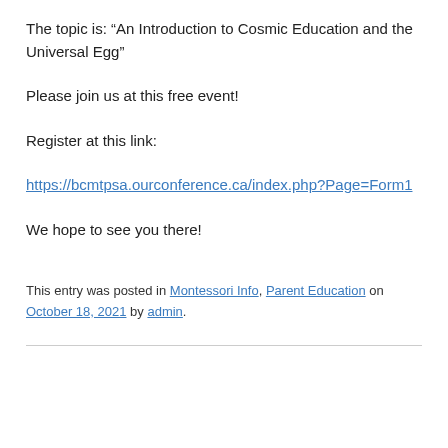The topic is: “An Introduction to Cosmic Education and the Universal Egg”
Please join us at this free event!
Register at this link:
https://bcmtpsa.ourconference.ca/index.php?Page=Form1
We hope to see you there!
This entry was posted in Montessori Info, Parent Education on October 18, 2021 by admin.